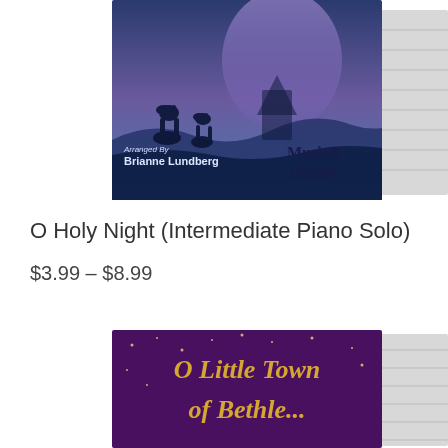[Figure (photo): Sheet music book cover for O Holy Night piano solo arranged by Brianne Lundberg with dark blue nativity/desert scene with camels and purple glow, labeled Music & Theory. Book shown at an angle with visible pages on the right side.]
O Holy Night (Intermediate Piano Solo)
$3.99 – $8.99
[Figure (photo): Partially visible sheet music book cover showing 'O Little Town of Bethlehem' title text in gold decorative script on a dark purple/maroon background with stars, with visible pages on right side.]